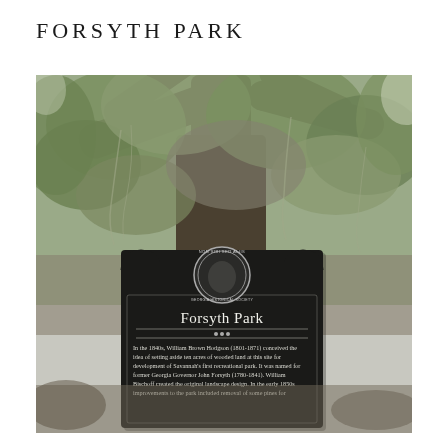FORSYTH PARK
[Figure (photo): Photograph of a Georgia Historical Society historical marker for Forsyth Park. The black metal sign has a circular emblem at top reading 'NON SIBI SED ALIIS' and 'GEORGIA HISTORICAL SOCIETY'. Below the emblem is the title 'Forsyth Park' in serif font, followed by a decorative divider with three dots, and text reading: 'In the 1840s, William Brown Hodgson (1801-1871) conceived the idea of setting aside ten acres of wooded land at this site for development of Savannah's first recreational park. It was named for former Georgia Governor John Forsyth (1780-1841). William Bischoff created the original landscape design. In the early 1850s improvements to the park included removal of some pines for'. Behind the sign is a large, spreading live oak tree with Spanish moss, photographed in black and white/desaturated tones.]